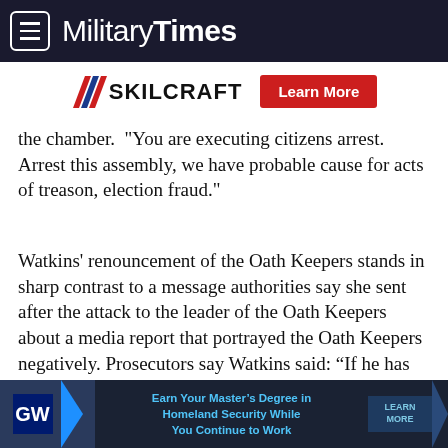Military Times
[Figure (logo): SKILCRAFT logo with red chevron/slash mark and a red 'Learn More' button]
the chamber.  "You are executing citizens arrest. Arrest this assembly, we have probable cause for acts of treason, election fraud."
Watkins' renouncement of the Oath Keepers stands in sharp contrast to a message authorities say she sent after the attack to the leader of the Oath Keepers about a media report that portrayed the Oath Keepers negatively. Prosecutors say Watkins said: “If he has anything negative to say about us OATHKEEPERS, I'll
[Figure (infographic): Bottom advertisement banner for GW (George Washington University): 'Earn Your Master's Degree in Homeland Security While You Continue to Work' with LEARN MORE button]